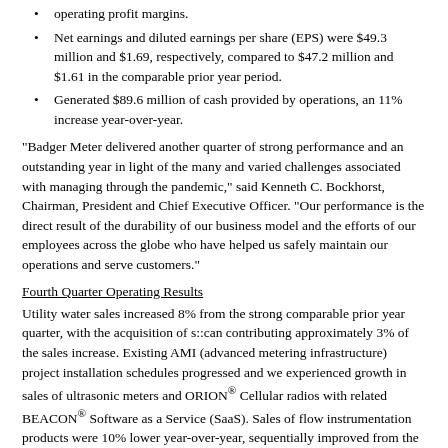operating profit margins.
Net earnings and diluted earnings per share (EPS) were $49.3 million and $1.69, respectively, compared to $47.2 million and $1.61 in the comparable prior year period.
Generated $89.6 million of cash provided by operations, an 11% increase year-over-year.
“Badger Meter delivered another quarter of strong performance and an outstanding year in light of the many and varied challenges associated with managing through the pandemic,” said Kenneth C. Bockhorst, Chairman, President and Chief Executive Officer. “Our performance is the direct result of the durability of our business model and the efforts of our employees across the globe who have helped us safely maintain our operations and serve customers.”
Fourth Quarter Operating Results
Utility water sales increased 8% from the strong comparable prior year quarter, with the acquisition of s::can contributing approximately 3% of the sales increase. Existing AMI (advanced metering infrastructure) project installation schedules progressed and we experienced growth in sales of ultrasonic meters and ORION® Cellular radios with related BEACON® Software as a Service (SaaS). Sales of flow instrumentation products were 10% lower year-over-year, sequentially improved from the third quarter, yet continuing to reflect the sluggish activity across most of the varied industrial end markets served.
Operating margins of 15.1% were 10 basis points lower than the prior year’s 15.2%. Gross margin increased $2.9 million year-over-year, and gross margin percent increased 100 basis points to 39.2% from the prior year’s 38.2%. The quarter benefited from favorable business mix with higher SaaS and diluted...